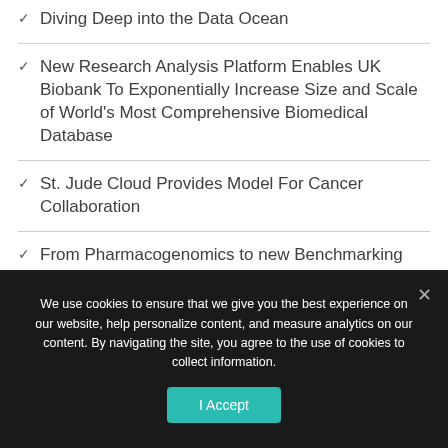Diving Deep into the Data Ocean
New Research Analysis Platform Enables UK Biobank To Exponentially Increase Size and Scale of World's Most Comprehensive Biomedical Database
St. Jude Cloud Provides Model For Cancer Collaboration
From Pharmacogenomics to new Benchmarking Frameworks, DNAnexus Delivers at ASHG20
We use cookies to ensure that we give you the best experience on our website, help personalize content, and measure analytics on our content. By navigating the site, you agree to the use of cookies to collect information.